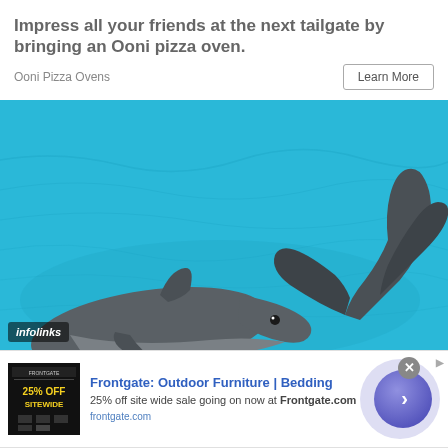[Figure (photo): Narrow horizontal strip of outdoor/nature scene at top of page]
Impress all your friends at the next tailgate by bringing an Ooni pizza oven.
Ooni Pizza Ovens
Learn More
[Figure (photo): Two dolphins in bright blue water, one showing its tail fluke above the surface, with an infolinks watermark badge in the bottom left corner]
[Figure (screenshot): Frontgate advertisement banner: Frontgate: Outdoor Furniture | Bedding. 25% off site wide sale going on now at Frontgate.com. frontgate.com. Shows a 25% OFF SITEWIDE promotional image on the left and a navigation arrow button on the right.]